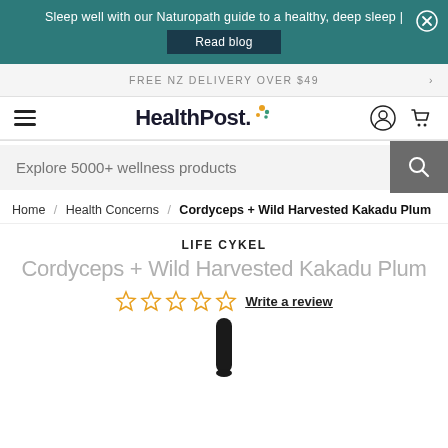Sleep well with our Naturopath guide to a healthy, deep sleep | Read blog
FREE NZ DELIVERY OVER $49
[Figure (logo): HealthPost logo with colorful leaf dots]
Explore 5000+ wellness products
Home / Health Concerns / Cordyceps + Wild Harvested Kakadu Plum
LIFE CYKEL
Cordyceps + Wild Harvested Kakadu Plum
Write a review
[Figure (photo): Bottom portion of a dark dropper bottle product]